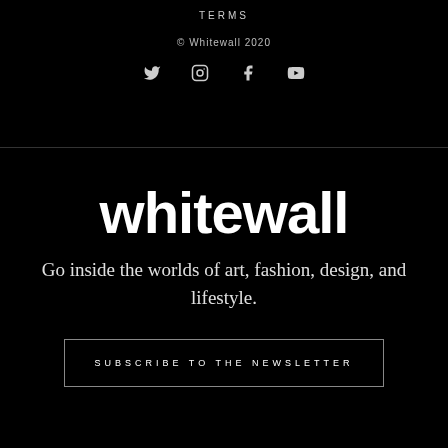TERMS
© Whitewall 2020
[Figure (other): Social media icons: Twitter, Instagram, Facebook, YouTube]
whitewall
Go inside the worlds of art, fashion, design, and lifestyle.
SUBSCRIBE TO THE NEWSLETTER